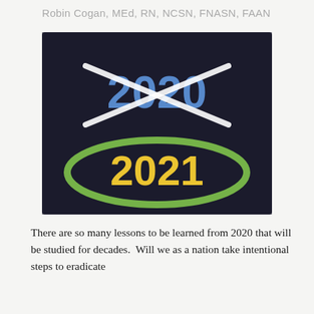Robin Cogan, MEd, RN, NCSN, FNASN, FAAN
[Figure (illustration): Dark chalkboard-style image with '2020' written in blue paint and crossed out with a white X, and '2021' written in yellow paint circled with a green oval, symbolizing leaving 2020 behind and welcoming 2021.]
There are so many lessons to be learned from 2020 that will be studied for decades.  Will we as a nation take intentional steps to eradicate